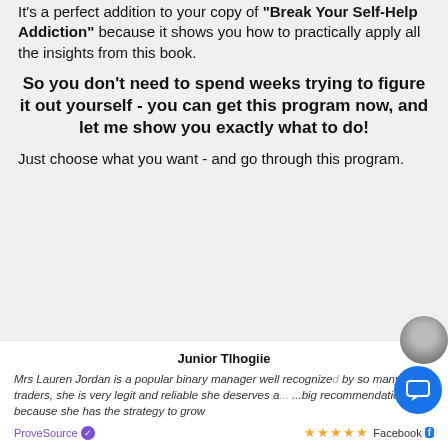It's a perfect addition to your copy of "Break Your Self-Help Addiction" because it shows you how to practically apply all the insights from this book.
So you don't need to spend weeks trying to figure it out yourself - you can get this program now, and let me show you exactly what to do!
Just choose what you want - and go through this program.
Junior Tlhogiie
Mrs Lauren Jordan is a popular binary manager well recognized by so many traders, she is very legit and reliable she deserves a ...big recommendation because she has the strategy to grow
ProveSource  ★★★★★ Facebook